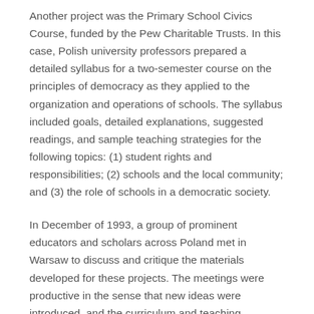Another project was the Primary School Civics Course, funded by the Pew Charitable Trusts. In this case, Polish university professors prepared a detailed syllabus for a two-semester course on the principles of democracy as they applied to the organization and operations of schools. The syllabus included goals, detailed explanations, suggested readings, and sample teaching strategies for the following topics: (1) student rights and responsibilities; (2) schools and the local community; and (3) the role of schools in a democratic society.
In December of 1993, a group of prominent educators and scholars across Poland met in Warsaw to discuss and critique the materials developed for these projects. The meetings were productive in the sense that new ideas were introduced, and the curriculum and teaching methods were adopted according to the needs of the rapidly changing Polish society. This program has been